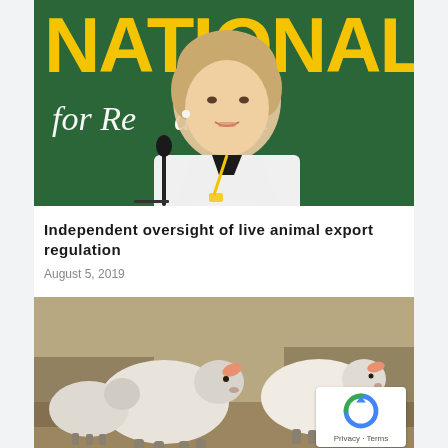[Figure (photo): Woman in white blazer with yellow lanyard speaking at a podium with microphone, in front of a dark green banner reading 'NATIONALS for Regional Austr...' with large yellow letters]
Independent oversight of live animal export regulation
August 5, 2019
[Figure (photo): Two white sheep (merinos) standing in a paddock, facing the camera, with a dusty brown background]